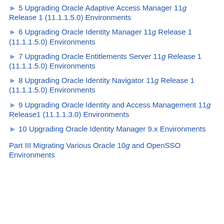▶ 5 Upgrading Oracle Adaptive Access Manager 11g Release 1 (11.1.1.5.0) Environments
▶ 6 Upgrading Oracle Identity Manager 11g Release 1 (11.1.1.5.0) Environments
▶ 7 Upgrading Oracle Entitlements Server 11g Release 1 (11.1.1.5.0) Environments
▶ 8 Upgrading Oracle Identity Navigator 11g Release 1 (11.1.1.5.0) Environments
▶ 9 Upgrading Oracle Identity and Access Management 11g Release1 (11.1.1.3.0) Environments
▶ 10 Upgrading Oracle Identity Manager 9.x Environments
Part III Migrating Various Oracle 10g and OpenSSO Environments